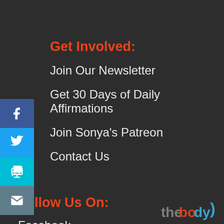Get Involved:
Join Our Newsletter
Get 30 Days of Daily Affirmations
Join Sonya's Patreon
Contact Us
Follow Us On:
Facebook
Instagram